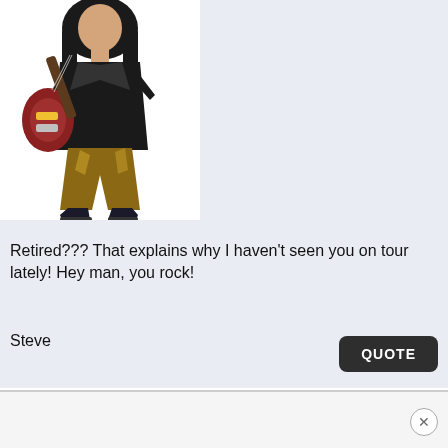[Figure (photo): A rock guitarist with long dark hair wearing a black leather jacket and shiny brown/gold pants, playing an electric guitar, posed in a rocking stance against a white background.]
Retired??? That explains why I haven't seen you on tour lately! Hey man, you rock!
Steve
QUOTE